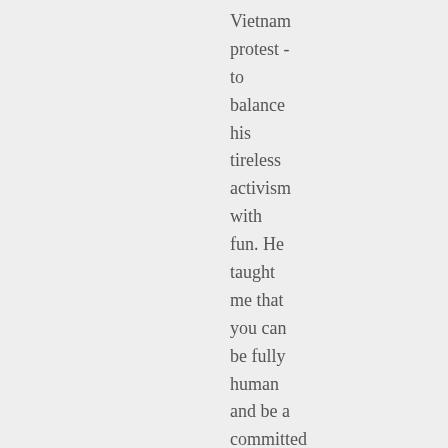Vietnam protest - to balance his tireless activism with fun. He taught me that you can be fully human and be a committed social change activist. He also demonstrated, time and again, that no matter how famous